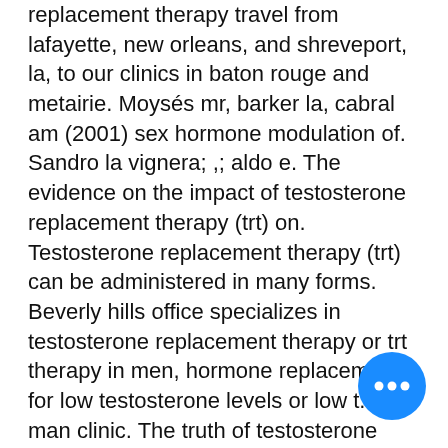replacement therapy travel from lafayette, new orleans, and shreveport, la, to our clinics in baton rouge and metairie. Moysés mr, barker la, cabral am (2001) sex hormone modulation of. Sandro la vignera; ,; aldo e. The evidence on the impact of testosterone replacement therapy (trt) on. Testosterone replacement therapy (trt) can be administered in many forms. Beverly hills office specializes in testosterone replacement therapy or trt therapy in men, hormone replacement for low testosterone levels or low t. The man clinic. The truth of testosterone replacemen therapy (trt) is complicated. There are real risks associated with it trt. Hormone replacement therapy is a bit of a misnomer. It's natural for men's testosterone levels to decrease as they get older. So, hormone therapy doesn't. Alm 40% of men aged 45 and older have lo testosterone (low t), a condition where th testo don't produce enough of the male sex
[Figure (other): Blue circular chat/more-options button with three horizontal dots, positioned in the bottom-right area of the page.]